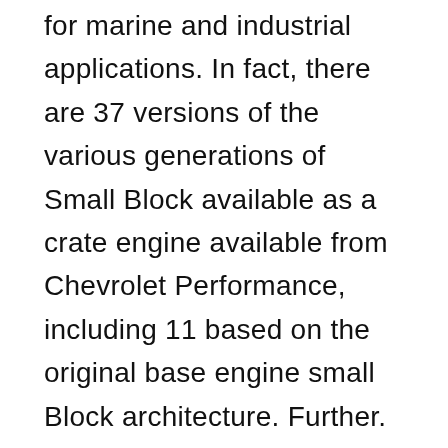for marine and industrial applications. In fact, there are 37 versions of the various generations of Small Block available as a crate engine available from Chevrolet Performance, including 11 based on the original base engine small Block architecture. Further. its actually possible to build a Small Block entirely with aftermarket components like aluminum heads, or cast iron equivalents, engineered connecting rods, compression ratio improving systems, and other high performance parts without a single GM component.